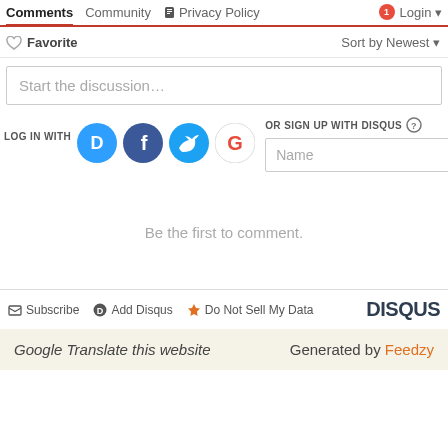Comments  Community  Privacy Policy  Login
♡ Favorite   Sort by Newest ▼
Start the discussion…
LOG IN WITH
OR SIGN UP WITH DISQUS ?
Name
Be the first to comment.
Subscribe   Add Disqus   Do Not Sell My Data   DISQUS
Google Translate this website   Generated by Feedzy